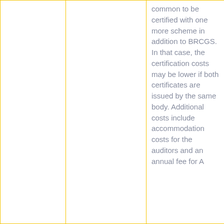common to be certified with one more scheme in addition to BRCGS. In that case, the certification costs may be lower if both certificates are issued by the same body. Additional costs include accommodation costs for the auditors and an annual fee for A